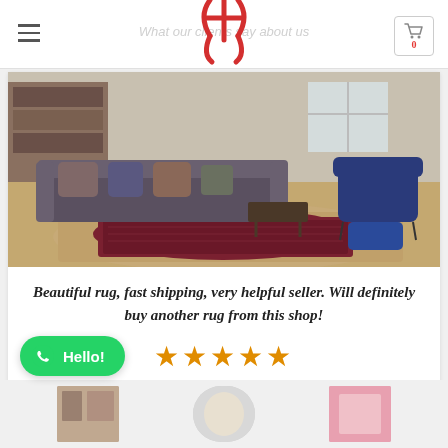What our clients say about us
[Figure (photo): Living room interior with a burgundy/red Moroccan rug on a natural jute rug, a dark sofa with pillows, a small coffee table, and a blue velvet armchair with matching ottoman near a window]
Beautiful rug, fast shipping, very helpful seller. Will definitely buy another rug from this shop!
★★★★★
aisa Rexer / United States